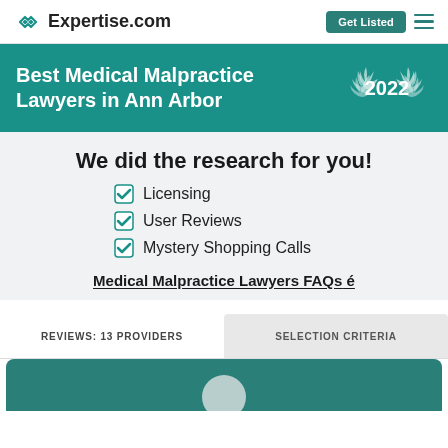Expertise.com
Best Medical Malpractice Lawyers in Ann Arbor
We did the research for you!
Licensing
User Reviews
Mystery Shopping Calls
Medical Malpractice Lawyers FAQs ↗
REVIEWS: 13 PROVIDERS
SELECTION CRITERIA